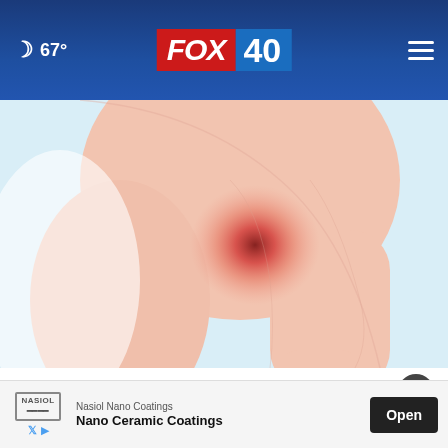67° FOX 40
[Figure (illustration): Medical illustration of a human shoulder joint with a red inflamed area, suggesting pain or inflammation, on a light blue background]
Common Signs Your Body is Fighting Lung Cancer
Lung Cancer - Sponsored
[Figure (other): Advertisement banner for Nasiol Nano Coatings - Nano Ceramic Coatings with an Open button]